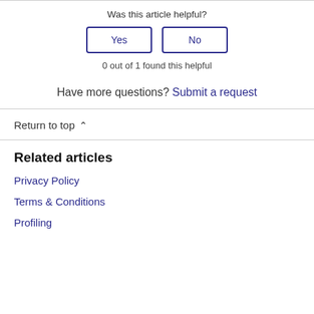Was this article helpful?
Yes   No
0 out of 1 found this helpful
Have more questions? Submit a request
Return to top
Related articles
Privacy Policy
Terms & Conditions
Profiling